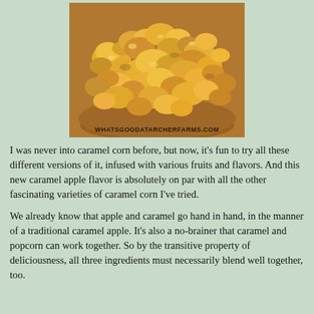[Figure (photo): Close-up photo of caramel apple popcorn in a bowl, with a watermark reading WHATSGOODATARCHERFARMS.COM at the bottom]
I was never into caramel corn before, but now, it's fun to try all these different versions of it, infused with various fruits and flavors. And this new caramel apple flavor is absolutely on par with all the other fascinating varieties of caramel corn I've tried.
We already know that apple and caramel go hand in hand, in the manner of a traditional caramel apple. It's also a no-brainer that caramel and popcorn can work together. So by the transitive property of deliciousness, all three ingredients must necessarily blend well together, too.